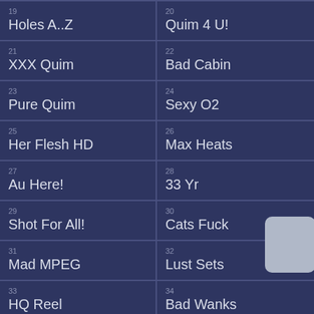19 Holes A..Z
20 Quim 4 U!
21 XXX Quim
22 Bad Cabin
23 Pure Quim
24 Sexy O2
25 Her Flesh HD
26 Max Heats
27 Au Here!
28 33 Yr
29 Shot For All!
30 Cats Fuck
31 Mad MPEG
32 Lust Sets
33 HQ Reel
34 Bad Wanks
35
36